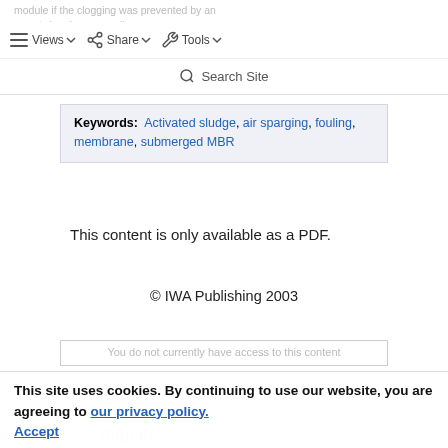module if the clogging was prevented by an appropriate at cleaning as per di backwashing.
Views | Share | Tools
Search Site
Keywords: Activated sludge, air sparging, fouling, membrane, submerged MBR
This content is only available as a PDF.
© IWA Publishing 2003
You do not currently have access to this content
This site uses cookies. By continuing to use our website, you are agreeing to our privacy policy. Accept
Sign in